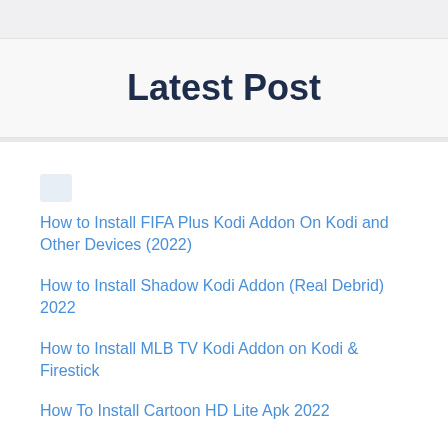Latest Post
How to Install FIFA Plus Kodi Addon On Kodi and Other Devices (2022)
How to Install Shadow Kodi Addon (Real Debrid) 2022
How to Install MLB TV Kodi Addon on Kodi & Firestick
How To Install Cartoon HD Lite Apk 2022